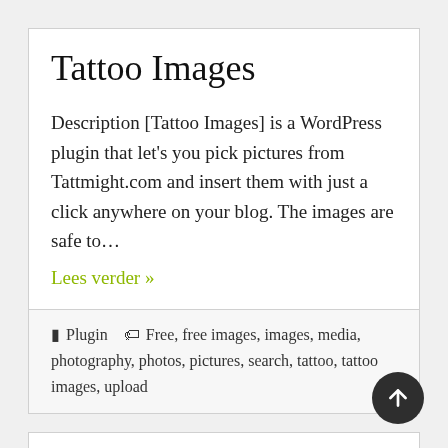Tattoo Images
Description [Tattoo Images] is a WordPress plugin that let’s you pick pictures from Tattmight.com and insert them with just a click anywhere on your blog. The images are safe to…
Lees verder »
Plugin  Free, free images, images, media, photography, photos, pictures, search, tattoo, tattoo images, upload
Allow Swf Upload
Description Allow user to upload SWF file inside Upload panel for all user important need this